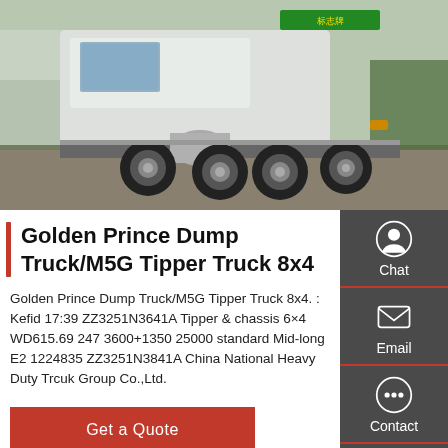[Figure (photo): Rear/side view of a white heavy-duty dump truck (tipper truck 8x4) parked on a concrete yard with trees and signage visible in background]
Golden Prince Dump Truck/M5G Tipper Truck 8x4
Golden Prince Dump Truck/M5G Tipper Truck 8x4. : Kefid 17:39 ZZ3251N3641A Tipper & chassis 6×4 WD615.69 247 3600+1350 25000 standard Mid-long E2 1224835 ZZ3251N3841A China National Heavy Duty Trcuk Group Co.,Ltd.